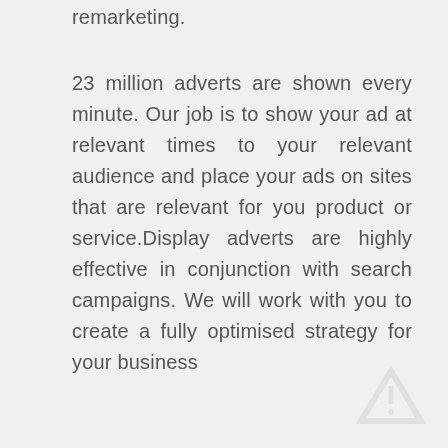remarketing.
23 million adverts are shown every minute. Our job is to show your ad at relevant times to your relevant audience and place your ads on sites that are relevant for you product or service.Display adverts are highly effective in conjunction with search campaigns. We will work with you to create a fully optimised strategy for your business